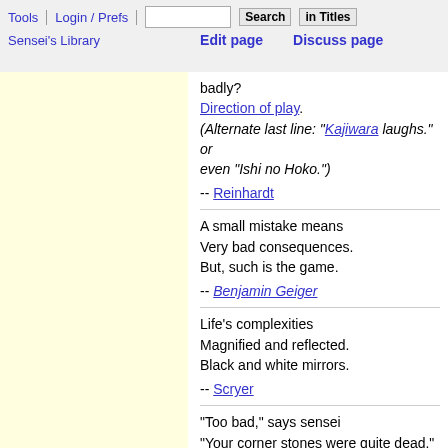Tools | Login / Prefs | Search | in Titles | Sensei's Library | Edit page | Discuss page
badly?
Direction of play.
(Alternate last line: "Kajiwara laughs." or even "Ishi no Hoko.")
-- Reinhardt
A small mistake means
Very bad consequences.
But, such is the game.
-- Benjamin Geiger
Life's complexities
Magnified and reflected.
Black and white mirrors.
-- Scryer
"Too bad," says sensei
"Your corner stones were quite dead."
"Ten years," says the judge.
-- Blake